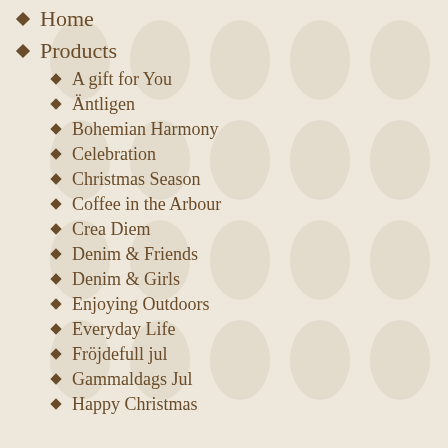Home
Products
A gift for You
Äntligen
Bohemian Harmony
Celebration
Christmas Season
Coffee in the Arbour
Crea Diem
Denim & Friends
Denim & Girls
Enjoying Outdoors
Everyday Life
Fröjdefull jul
Gammaldags Jul
Happy Christmas